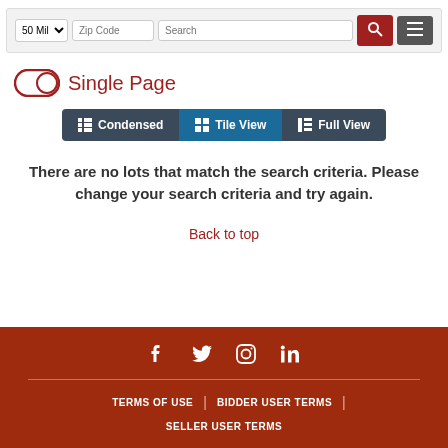[Figure (screenshot): Search bar with 50 Mil dropdown, Zip Code text field, Search text field, red search button with magnifier icon, and dark grey hamburger menu button]
Single Page
[Figure (screenshot): View toggle tabs: Condensed, Tile View (active/highlighted in blue), Full View — on dark background bar]
There are no lots that match the search criteria. Please change your search criteria and try again.
Back to top
Social icons: Facebook, Twitter, Instagram, LinkedIn | TERMS OF USE | BIDDER USER TERMS | SELLER USER TERMS